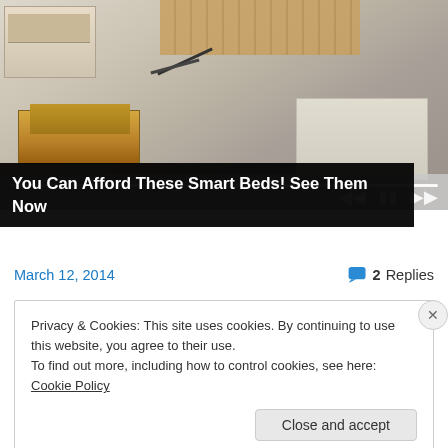[Figure (photo): A smart bed with storage drawers open, showing wooden drawer compartments and beige leather upholstered bed frame with accessories. Slideshow media player controls visible at bottom of image area.]
You Can Afford These Smart Beds! See Them Now
March 12, 2014
2 Replies
Privacy & Cookies: This site uses cookies. By continuing to use this website, you agree to their use.
To find out more, including how to control cookies, see here: Cookie Policy
Close and accept